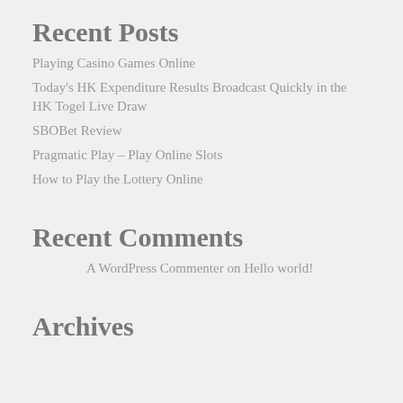Recent Posts
Playing Casino Games Online
Today's HK Expenditure Results Broadcast Quickly in the HK Togel Live Draw
SBOBet Review
Pragmatic Play – Play Online Slots
How to Play the Lottery Online
Recent Comments
A WordPress Commenter on Hello world!
Archives